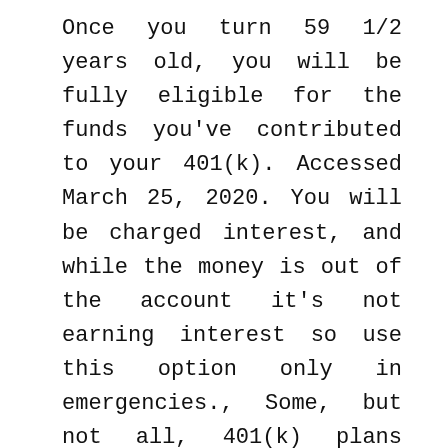Once you turn 59 1/2 years old, you will be fully eligible for the funds you've contributed to your 401(k). Accessed March 25, 2020. You will be charged interest, and while the money is out of the account it's not earning interest so use this option only in emergencies., Some, but not all, 401(k) plans allow you to take a hardship withdrawal if your circumstances qualify under the hardship provisions., A few 401(k) plans allow you to take money out of the plan while you are still employed by using this option.. You are paying college tuition for yourself or family. How can I get monthly distributions of my 401K? … There